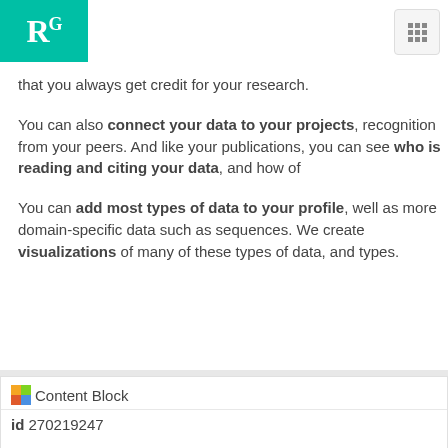[Figure (logo): ResearchGate RG logo on teal/green background in top left corner]
that you always get credit for your research.
You can also connect your data to your projects, recognition from your peers. And like your publications, you can see who is reading and citing your data, and how of
You can add most types of data to your profile, well as more domain-specific data such as sequences. We create visualizations of many of these types of data, and types.
Content Block
id 270219247